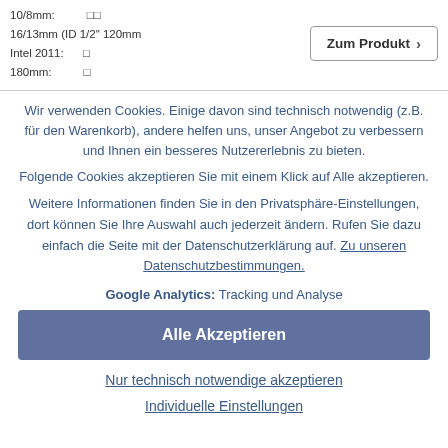10/8mm: □□
16/13mm (ID 1/2" 120mm
Intel 2011: □
180mm: □
Zum Produkt >
Wir verwenden Cookies. Einige davon sind technisch notwendig (z.B. für den Warenkorb), andere helfen uns, unser Angebot zu verbessern und Ihnen ein besseres Nutzererlebnis zu bieten.
Folgende Cookies akzeptieren Sie mit einem Klick auf Alle akzeptieren.
Weitere Informationen finden Sie in den Privatsphäre-Einstellungen, dort können Sie Ihre Auswahl auch jederzeit ändern. Rufen Sie dazu einfach die Seite mit der Datenschutzerklärung auf. Zu unseren Datenschutzbestimmungen.
Google Analytics: Tracking und Analyse
Alle Akzeptieren
Nur technisch notwendige akzeptieren
Individuelle Einstellungen